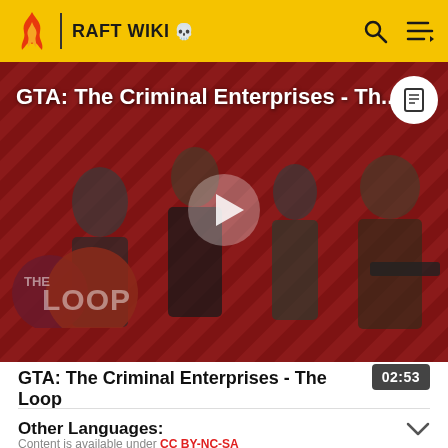RAFT WIKI
[Figure (screenshot): GTA: The Criminal Enterprises - The Loop video thumbnail with characters on striped red/dark background, play button overlay, and The Loop logo badge]
GTA: The Criminal Enterprises - The Loop
02:53
Other Languages:
Content is available under CC BY-NC-SA